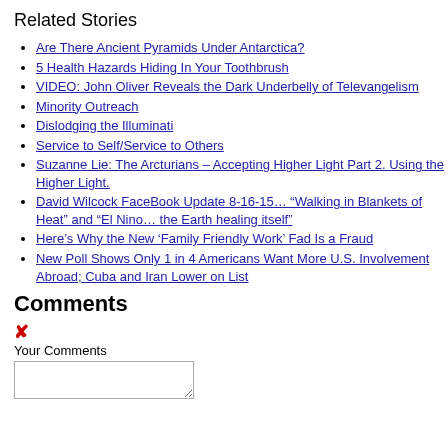Related Stories
Are There Ancient Pyramids Under Antarctica?
5 Health Hazards Hiding In Your Toothbrush
VIDEO: John Oliver Reveals the Dark Underbelly of Televangelism
Minority Outreach
Dislodging the Illuminati
Service to Self/Service to Others
Suzanne Lie: The Arcturians – Accepting Higher Light Part 2. Using the Higher Light.
David Wilcock FaceBook Update 8-16-15… “Walking in Blankets of Heat” and “El Nino… the Earth healing itself”
Here’s Why the New ‘Family Friendly Work’ Fad Is a Fraud
New Poll Shows Only 1 in 4 Americans Want More U.S. Involvement Abroad; Cuba and Iran Lower on List
Comments
Your Comments